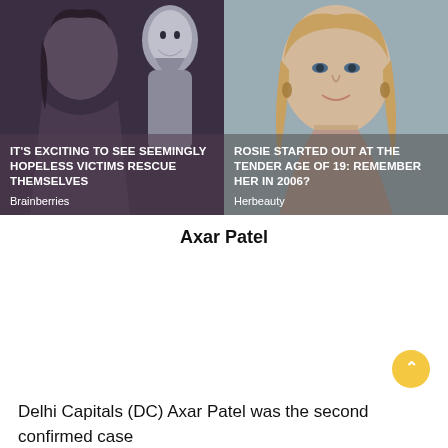[Figure (photo): Left ad card showing dark-toned image of two women with overlay text: IT'S EXCITING TO SEE SEEMINGLY HOPELESS VICTIMS RESCUE THEMSELVES, branded Brainberries]
[Figure (photo): Right ad card showing a young blonde woman against grey background with overlay text: ROSIE STARTED OUT AT THE TENDER AGE OF 19: REMEMBER HER IN 2006?, branded Herbeauty]
Axar Patel
Delhi Capitals (DC) Axar Patel was the second confirmed case in IPL...